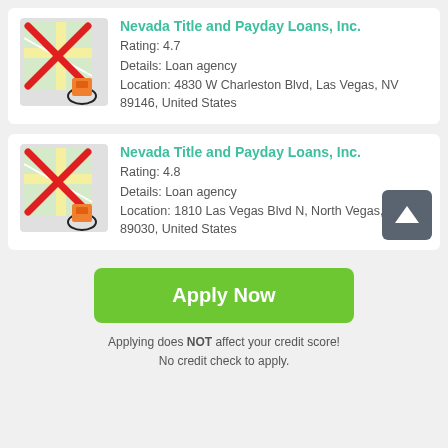[Figure (other): Map icon with red X overlay and red marker, for Nevada Title and Payday Loans listing 1]
Nevada Title and Payday Loans, Inc.
Rating: 4.7
Details: Loan agency
Location: 4830 W Charleston Blvd, Las Vegas, NV 89146, United States
[Figure (other): Map icon with red X overlay and red marker, for Nevada Title and Payday Loans listing 2]
Nevada Title and Payday Loans, Inc.
Rating: 4.8
Details: Loan agency
Location: 1810 Las Vegas Blvd N, North Vegas, NV 89030, United States
Apply Now
Applying does NOT affect your credit score!
No credit check to apply.